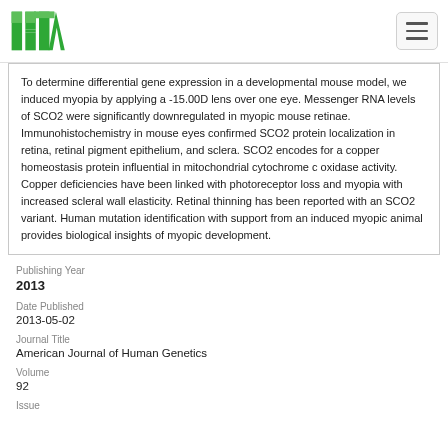ISTA logo and navigation
To determine differential gene expression in a developmental mouse model, we induced myopia by applying a -15.00D lens over one eye. Messenger RNA levels of SCO2 were significantly downregulated in myopic mouse retinae. Immunohistochemistry in mouse eyes confirmed SCO2 protein localization in retina, retinal pigment epithelium, and sclera. SCO2 encodes for a copper homeostasis protein influential in mitochondrial cytochrome c oxidase activity. Copper deficiencies have been linked with photoreceptor loss and myopia with increased scleral wall elasticity. Retinal thinning has been reported with an SCO2 variant. Human mutation identification with support from an induced myopic animal provides biological insights of myopic development.
Publishing Year
2013
Date Published
2013-05-02
Journal Title
American Journal of Human Genetics
Volume
92
Issue